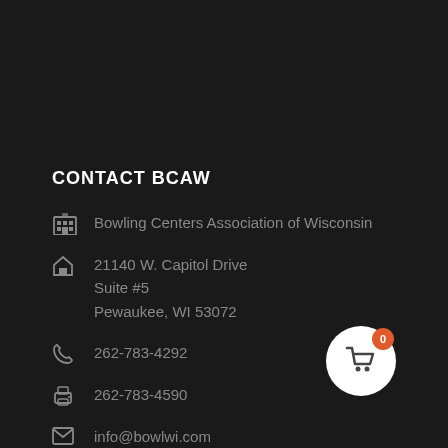CONTACT BCAW
Bowling Centers Association of Wisconsin
21140 W. Capitol Drive
Suite #5
Pewaukee, WI 53072
262-783-4292
262-783-4590
info@bowlwi.com
[Figure (other): Shopping cart button with orange badge showing 0]